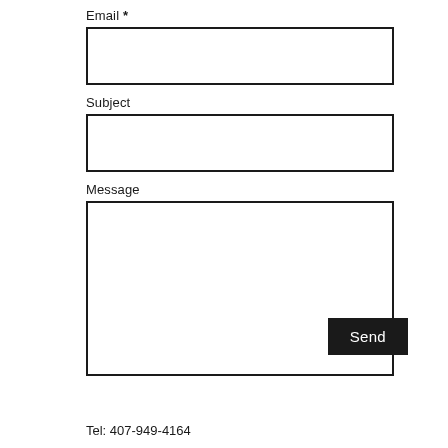Email *
[Figure (other): Empty email input field box]
Subject
[Figure (other): Empty subject input field box]
Message
[Figure (other): Empty message textarea box]
Send
Tel: 407-949-4164